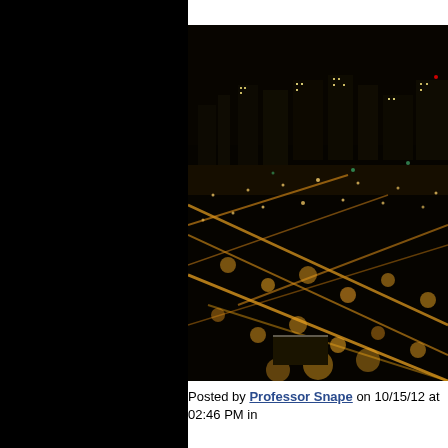[Figure (photo): Aerial night photograph of a city skyline with glowing amber streetlights and illuminated buildings spread across the frame]
Posted by Professor Snape on 10/15/12 at 02:46 PM in